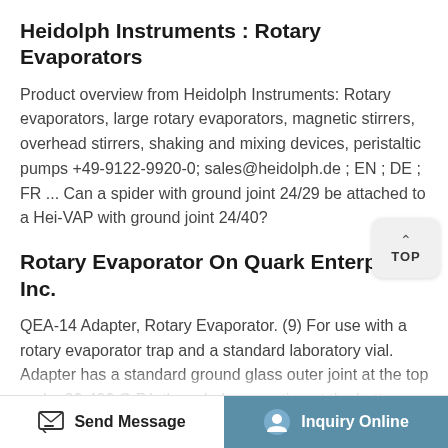Heidolph Instruments : Rotary Evaporators
Product overview from Heidolph Instruments: Rotary evaporators, large rotary evaporators, magnetic stirrers, overhead stirrers, shaking and mixing devices, peristaltic pumps +49-9122-9920-0; sales@heidolph.de ; EN ; DE ; FR ... Can a spider with ground joint 24/29 be attached to a Hei-VAP with ground joint 24/40?
Rotary Evaporator On Quark Enterprises Inc.
QEA-14 Adapter, Rotary Evaporator. (9) For use with a rotary evaporator trap and a standard laboratory vial. Adapter has a standard ground glass outer joint at the top and a 20-400 G.P.I. threaded connection at the bottom. The bottom
Send Message   Inquiry Online